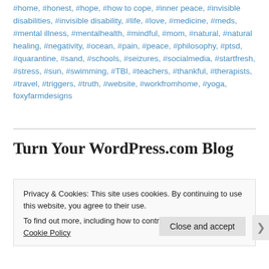#home, #honest, #hope, #how to cope, #inner peace, #invisible disabilities, #invisible disability, #life, #love, #medicine, #meds, #mental illness, #mentalhealth, #mindful, #mom, #natural, #natural healing, #negativity, #ocean, #pain, #peace, #philosophy, #ptsd, #quarantine, #sand, #schools, #seizures, #socialmedia, #startfresh, #stress, #sun, #swimming, #TBI, #teachers, #thankful, #therapists, #travel, #triggers, #truth, #website, #workfromhome, #yoga, foxyfarmdesigns
Turn Your WordPress.com Blog
Privacy & Cookies: This site uses cookies. By continuing to use this website, you agree to their use.
To find out more, including how to control cookies, see here: Cookie Policy
Close and accept